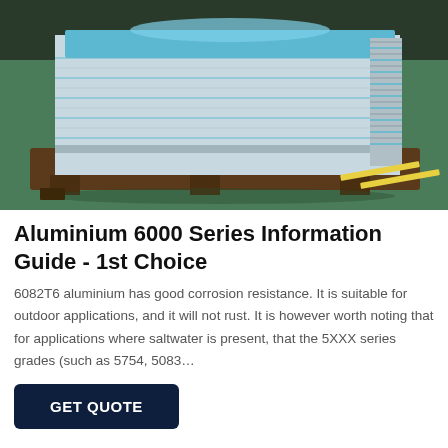[Figure (photo): Stack of aluminium sheets with blue protective film on top, sitting on wooden pallets in a factory or warehouse with green floor.]
Aluminium 6000 Series Information Guide - 1st Choice
6082T6 aluminium has good corrosion resistance. It is suitable for outdoor applications, and it will not rust. It is however worth noting that for applications where saltwater is present, that the 5XXX series grades (such as 5754, 5083…
GET QUOTE